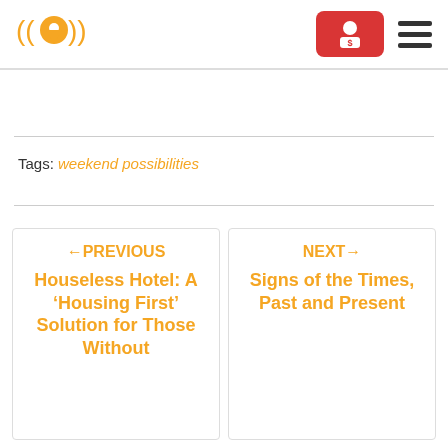[Figure (logo): Orange location pin with sound waves logo]
[Figure (other): Red donate button with person/dollar icon]
[Figure (other): Hamburger menu icon (three horizontal bars)]
Tags: weekend possibilities
←PREVIOUS Houseless Hotel: A 'Housing First' Solution for Those Without
NEXT→ Signs of the Times, Past and Present